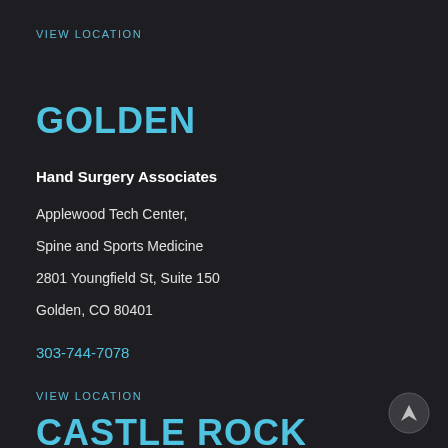VIEW LOCATION
GOLDEN
Hand Surgery Associates
Applewood Tech Center,
Spine and Sports Medicine
2801 Youngfield St, Suite 150
Golden, CO 80401
303-744-7078
VIEW LOCATION
CASTLE ROCK